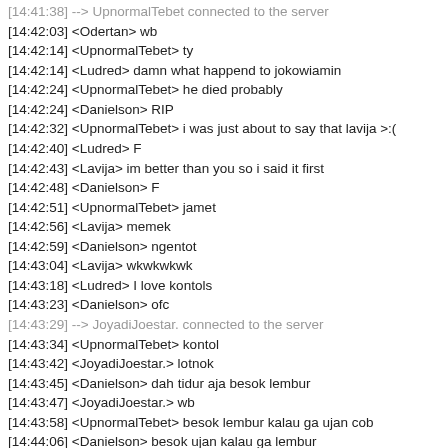[14:41:38] --> UpnormalTebet connected to the server
[14:42:03] <Odertan> wb
[14:42:14] <UpnormalTebet> ty
[14:42:14] <Ludred> damn what happend to jokowiamin
[14:42:24] <UpnormalTebet> he died probably
[14:42:24] <Danielson> RIP
[14:42:32] <UpnormalTebet> i was just about to say that lavija >:(
[14:42:40] <Ludred> F
[14:42:43] <Lavija> im better than you so i said it first
[14:42:48] <Danielson> F
[14:42:51] <UpnormalTebet> jamet
[14:42:56] <Lavija> memek
[14:42:59] <Danielson> ngentot
[14:43:04] <Lavija> wkwkwkwk
[14:43:18] <Ludred> I love kontols
[14:43:23] <Danielson> ofc
[14:43:29] --> JoyadiJoestar. connected to the server
[14:43:34] <UpnormalTebet> kontol
[14:43:42] <JoyadiJoestar.> lotnok
[14:43:45] <Danielson> dah tidur aja besok lembur
[14:43:47] <JoyadiJoestar.> wb
[14:43:58] <UpnormalTebet> besok lembur kalau ga ujan cob
[14:44:06] <Danielson> besok ujan kalau ga lembur
[14:44:11] <Danielson> hahanjing
[14:44:17] <UpnormalTebet> lu jangan halu
[14:44:23] <Danielson> ...